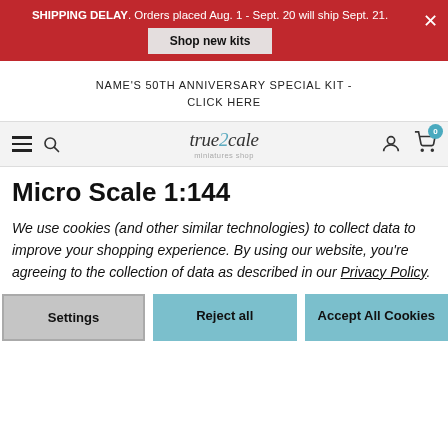SHIPPING DELAY. Orders placed Aug. 1 - Sept. 20 will ship Sept. 21. Shop new kits
NAME'S 50TH ANNIVERSARY SPECIAL KIT - CLICK HERE
true2scale miniatures shop - navigation bar with 0 items in cart
Micro Scale 1:144
We use cookies (and other similar technologies) to collect data to improve your shopping experience. By using our website, you're agreeing to the collection of data as described in our Privacy Policy.
Settings | Reject all | Accept All Cookies